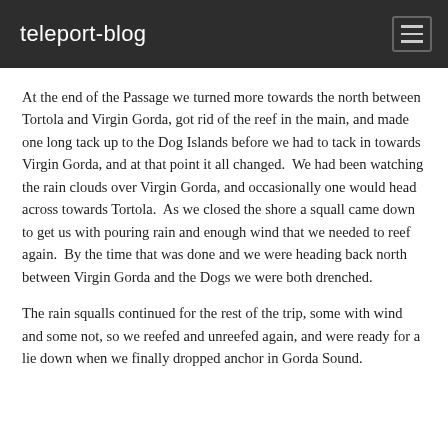teleport-blog
At the end of the Passage we turned more towards the north between Tortola and Virgin Gorda, got rid of the reef in the main, and made one long tack up to the Dog Islands before we had to tack in towards Virgin Gorda, and at that point it all changed.  We had been watching the rain clouds over Virgin Gorda, and occasionally one would head across towards Tortola.  As we closed the shore a squall came down to get us with pouring rain and enough wind that we needed to reef again.  By the time that was done and we were heading back north between Virgin Gorda and the Dogs we were both drenched.
The rain squalls continued for the rest of the trip, some with wind and some not, so we reefed and unreefed again, and were ready for a lie down when we finally dropped anchor in Gorda Sound.